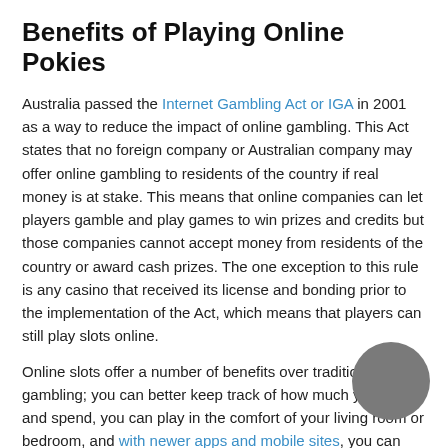Benefits of Playing Online Pokies
Australia passed the Internet Gambling Act or IGA in 2001 as a way to reduce the impact of online gambling. This Act states that no foreign company or Australian company may offer online gambling to residents of the country if real money is at stake. This means that online companies can let players gamble and play games to win prizes and credits but those companies cannot accept money from residents of the country or award cash prizes. The one exception to this rule is any casino that received its license and bonding prior to the implementation of the Act, which means that players can still play slots online.
Online slots offer a number of benefits over traditional gambling; you can better keep track of how much you earn and spend, you can play in the comfort of your living room or bedroom, and with newer apps and mobile sites, you can play slots on your tablet or smartphone.
Types of Pokies Games Available Online
Progressive slots: Progressive slots are games that remain connected to a single network. A portion of each bet goes into one large